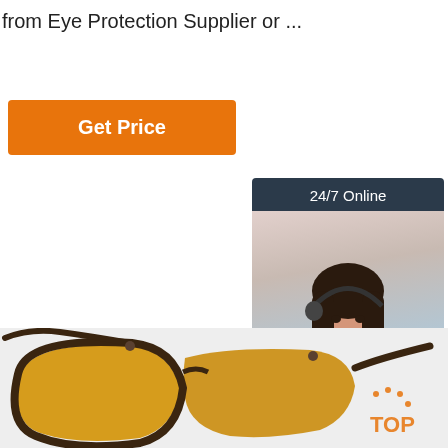from Eye Protection Supplier or ...
[Figure (infographic): Orange 'Get Price' button]
[Figure (photo): 24/7 Online customer service chat widget with photo of female agent wearing headset, 'Click here for free chat!' text, and orange QUOTATION button]
[Figure (photo): Pair of brown-framed sunglasses with yellow/amber lenses on light grey background, with a 'TOP' icon watermark in the lower right]
Click here for free chat !
QUOTATION